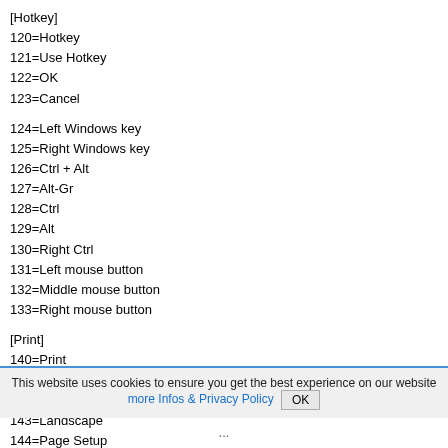[Hotkey]
120=Hotkey
121=Use Hotkey
122=OK
123=Cancel
124=Left Windows key
125=Right Windows key
126=Ctrl + Alt
127=Alt-Gr
128=Ctrl
129=Alt
130=Right Ctrl
131=Left mouse button
132=Middle mouse button
133=Right mouse button
[Print]
140=Print
141=Page
142=Page(s)
143=Landscape
144=Page Setup
145=Printer Setup
146=Title
This website uses cookies to ensure you get the best experience on our website more Infos & Privacy Policy  OK
...